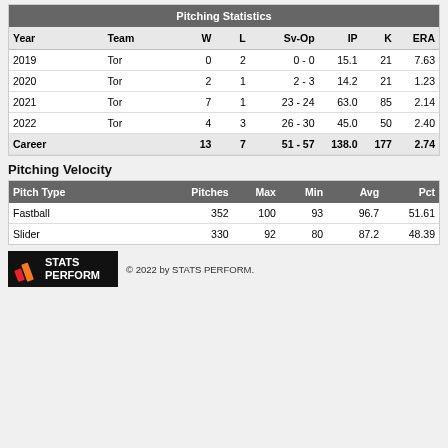| Year | Team | W | L | Sv-Op | IP | K | ERA |
| --- | --- | --- | --- | --- | --- | --- | --- |
| 2019 | Tor | 0 | 2 | 0 - 0 | 15.1 | 21 | 7.63 |
| 2020 | Tor | 2 | 1 | 2 - 3 | 14.2 | 21 | 1.23 |
| 2021 | Tor | 7 | 1 | 23 - 24 | 63.0 | 85 | 2.14 |
| 2022 | Tor | 4 | 3 | 26 - 30 | 45.0 | 50 | 2.40 |
| Career |  | 13 | 7 | 51 - 57 | 138.0 | 177 | 2.74 |
Pitching Velocity
| Pitch Type | Pitches | Max | Min | Avg | Pct |
| --- | --- | --- | --- | --- | --- |
| Fastball | 352 | 100 | 93 | 96.7 | 51.61 |
| Slider | 330 | 92 | 80 | 87.2 | 48.39 |
© 2022 by STATS PERFORM.